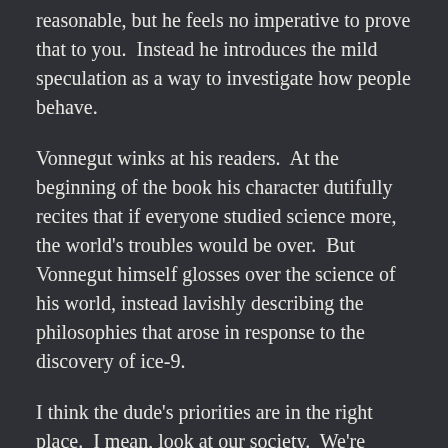reasonable, but he feels no imperative to prove that to you.  Instead he introduces the mild speculation as a way to investigate how people behave.
Vonnegut winks at his readers.  At the beginning of the book his character dutifully recites that if everyone studied science more, the world's troubles would be over.  But Vonnegut himself glosses over the science of his world, instead lavishly describing the philosophies that arose in response to the discovery of ice-9.
I think the dude's priorities are in the right place.  I mean, look at our society.  We're spending huge amounts of money investigating rare childhood diseases, or the routine maladies of age… but we spend a pittance on childhood nutrition, which